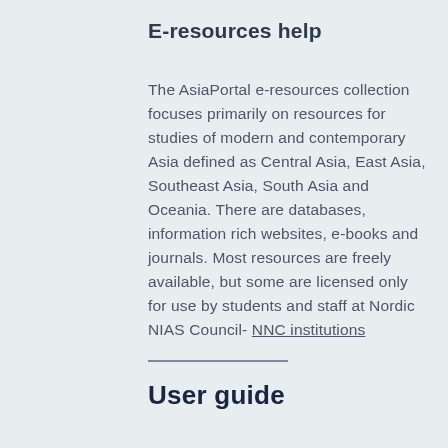E-resources help
The AsiaPortal e-resources collection focuses primarily on resources for studies of modern and contemporary Asia defined as Central Asia, East Asia, Southeast Asia, South Asia and Oceania. There are databases, information rich websites, e-books and journals. Most resources are freely available, but some are licensed only for use by students and staff at Nordic NIAS Council- NNC institutions
User guide